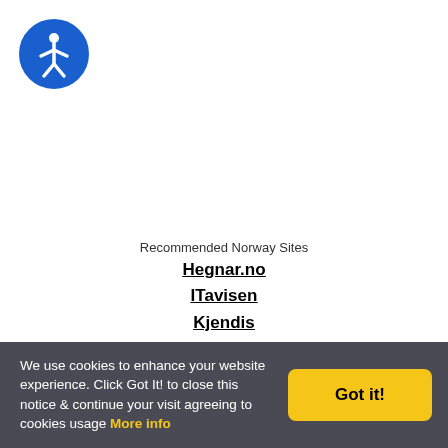[Figure (logo): Accessibility icon — blue circle with white human figure (wheelchair accessibility symbol)]
Recommended Norway Sites
Hegnar.no
ITavisen
Kjendis
Norwegian.no
VG Nett
Bergans of Norway
Church of Norway
We use cookies to enhance your website experience. Click Got It! to close this notice & continue your visit agreeing to cookies usage More info
Got it!